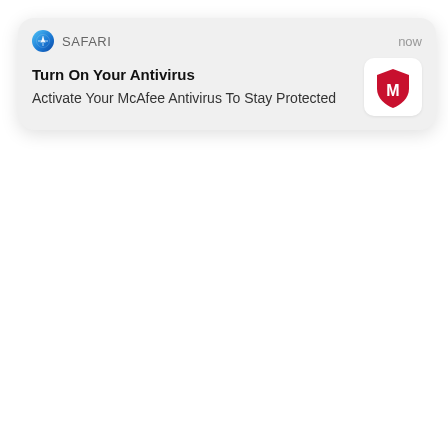[Figure (screenshot): iOS/macOS Safari browser push notification alert showing McAfee antivirus promotional message. Header row shows Safari compass icon, 'SAFARI' label, and 'now' timestamp. Body shows bold title 'Turn On Your Antivirus' and subtitle 'Activate Your McAfee Antivirus To Stay Protected', with McAfee logo (red shield with M) on the right.]